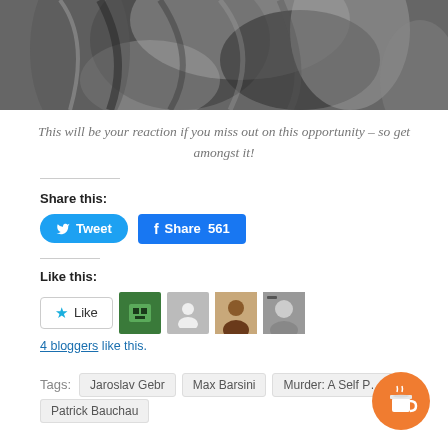[Figure (photo): Black and white close-up photo of a person with flowing hair, top portion of the page]
This will be your reaction if you miss out on this opportunity – so get amongst it!
Share this:
Tweet | Share 561
Like this:
Like | 4 bloggers like this.
Tags: Jaroslav Gebr | Max Barsini | Murder: A Self P… | Patrick Bauchau